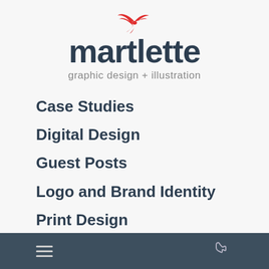[Figure (logo): Martlette logo with red bird silhouette above the word 'martlette' in dark navy bold font, and tagline 'graphic design + illustration' in gray below]
Case Studies
Digital Design
Guest Posts
Logo and Brand Identity
Print Design
Tips and Guides
hamburger menu icon | phone icon